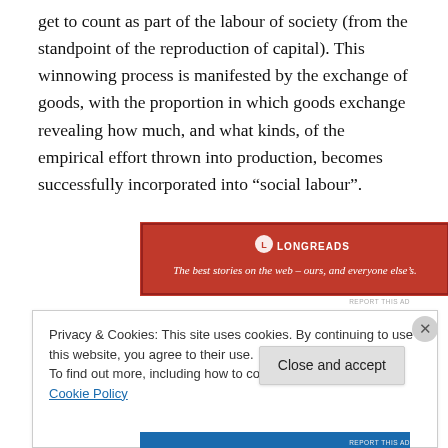get to count as part of the labour of society (from the standpoint of the reproduction of capital). This winnowing process is manifested by the exchange of goods, with the proportion in which goods exchange revealing how much, and what kinds, of the empirical effort thrown into production, becomes successfully incorporated into “social labour”.
[Figure (other): Longreads advertisement banner: red background with Longreads logo and tagline 'The best stories on the web – ours, and everyone else's.']
Privacy & Cookies: This site uses cookies. By continuing to use this website, you agree to their use.
To find out more, including how to control cookies, see here: Cookie Policy
Close and accept